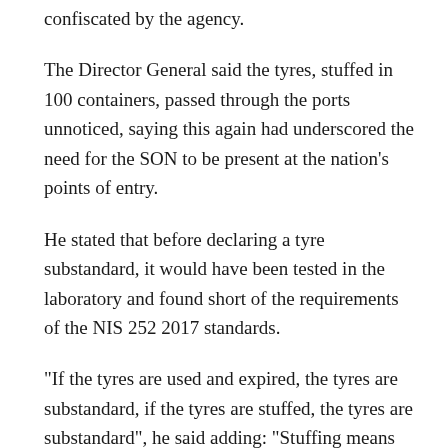confiscated by the agency.
The Director General said the tyres, stuffed in 100 containers, passed through the ports unnoticed, saying this again had underscored the need for the SON to be present at the nation’s points of entry.
He stated that before declaring a tyre substandard, it would have been tested in the laboratory and found short of the requirements of the NIS 252 2017 standards.
“If the tyres are used and expired, the tyres are substandard, if the tyres are stuffed, the tyres are substandard”, he said adding: “Stuffing means putting a smaller tyre into bigger ones and another bigger one into the biggest one by way of dodging duties and shipping cost to make too much profits, but in the